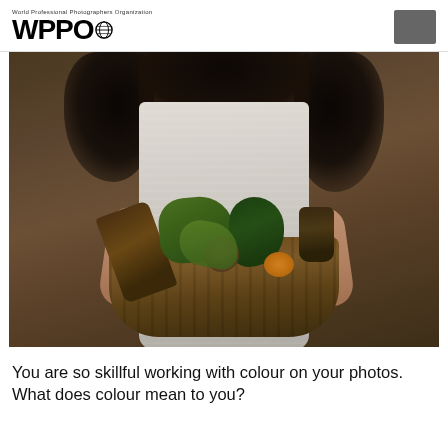World Professional Photographers Organization WPPO
[Figure (photo): A woman in a white dress with long dark curly hair holding a wicker basket filled with various vegetables including corn, squash, peppers and other produce. The background is dark brown. Her face is not visible.]
You are so skillful working with colour on your photos. What does colour mean to you?